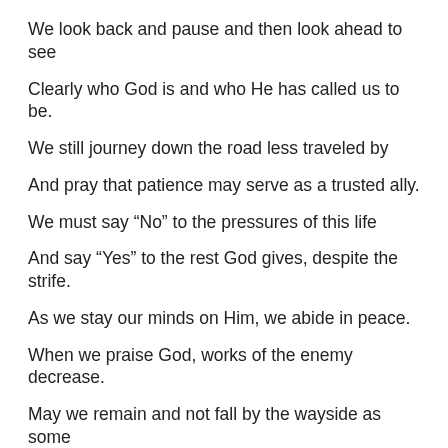We look back and pause and then look ahead to see
Clearly who God is and who He has called us to be.
We still journey down the road less traveled by
And pray that patience may serve as a trusted ally.
We must say “No” to the pressures of this life
And say “Yes” to the rest God gives, despite the strife.
As we stay our minds on Him, we abide in peace.
When we praise God, works of the enemy decrease.
May we remain and not fall by the wayside as some
But like Job wait until at last, our change shall come.